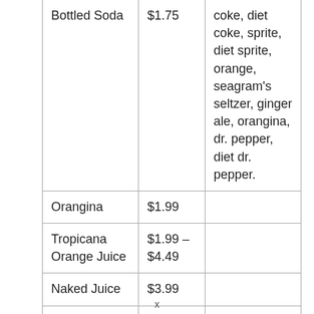| Bottled Soda | $1.75 | coke, diet coke, sprite, diet sprite, orange, seagram's seltzer, ginger ale, orangina, dr. pepper, diet dr. pepper. |
| Orangina | $1.99 |  |
| Tropicana Orange Juice | $1.99 – $4.49 |  |
| Naked Juice | $3.99 |  |
| V8 Can | $1.50 |  |